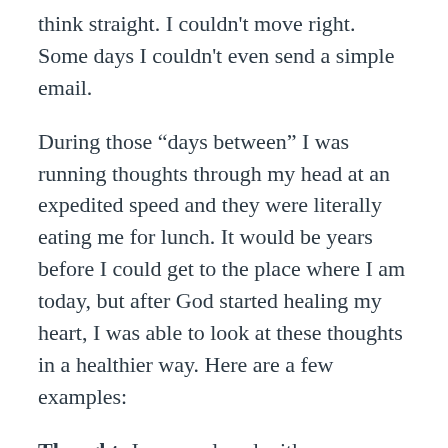think straight. I couldn't move right. Some days I couldn't even send a simple email.
During those “days between” I was running thoughts through my head at an expedited speed and they were literally eating me for lunch. It would be years before I could get to the place where I am today, but after God started healing my heart, I was able to look at these thoughts in a healthier way. Here are a few examples:
Thought: I was replaced with someone more beautiful than me. Healthy response: My divorce wasn’t about that. I need to recognize that it wasn’t a beauty pageant that I lost, it was about much deeper and more complicated issues.